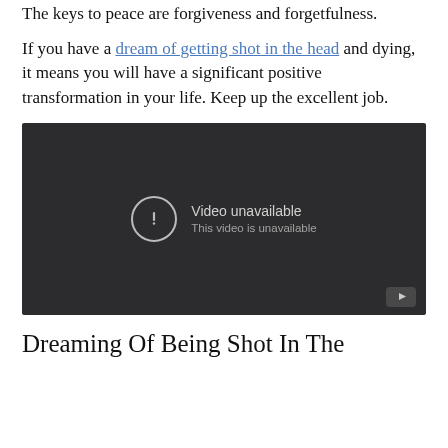The keys to peace are forgiveness and forgetfulness.
If you have a dream of getting shot in the head and dying, it means you will have a significant positive transformation in your life. Keep up the excellent job.
[Figure (screenshot): Embedded video player showing 'Video unavailable - This video is unavailable' error message on dark background with YouTube logo]
Dreaming Of Being Shot In The